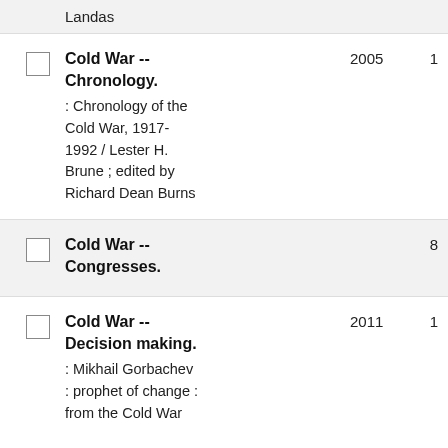Landas
Cold War -- Chronology. : Chronology of the Cold War, 1917-1992 / Lester H. Brune ; edited by Richard Dean Burns
Cold War -- Congresses.
Cold War -- Decision making. : Mikhail Gorbachev : prophet of change : from the Cold War